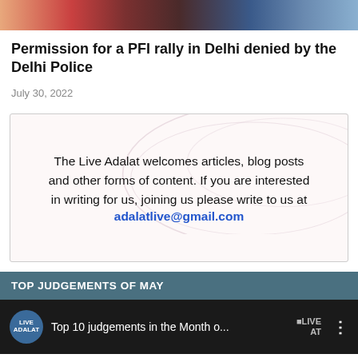[Figure (photo): Colorful banner image at top of article page showing people at a rally]
Permission for a PFI rally in Delhi denied by the Delhi Police
July 30, 2022
The Live Adalat welcomes articles, blog posts and other forms of content. If you are interested in writing for us, joining us please write to us at adalatlive@gmail.com
TOP JUDGEMENTS OF MAY
[Figure (screenshot): Video thumbnail showing Live Adalat logo and text: Top 10 judgements in the Month o...]